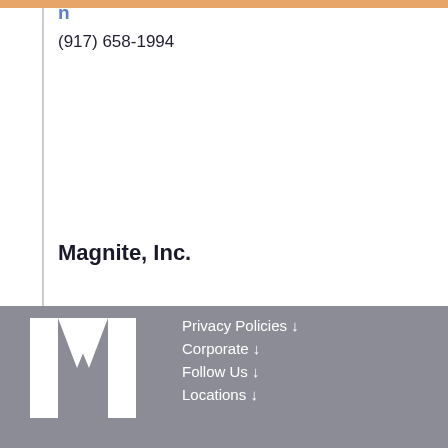(917) 658-1994
Magnite, Inc.
Privacy Policies ↓
Corporate ↓
Follow Us ↓
Locations ↓